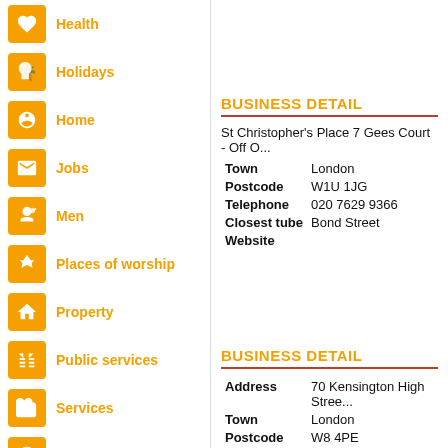Health
Holidays
Home
Jobs
Men
Places of worship
Property
Public services
Services
Spas
Sport
Transport
Wellbeing
Women
BUSINESS DETAIL
| Field | Value |
| --- | --- |
| Address | St Christopher's Place 7 Gees Court - Off O... |
| Town | London |
| Postcode | W1U 1JG |
| Telephone | 020 7629 9366 |
| Closest tube | Bond Street |
| Website |  |
BUSINESS DETAIL
| Field | Value |
| --- | --- |
| Address | 70 Kensington High Stree... |
| Town | London |
| Postcode | W8 4PE |
| Telephone | 020 7938 4135 |
| Closest tube | Kensington... |